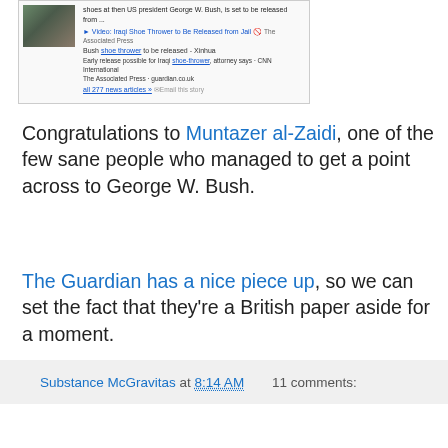[Figure (screenshot): Screenshot of a Google News search result about Iraqi shoe thrower Muntazer al-Zaidi being released from jail, showing links to Associated Press, Xinhua, and CNN International articles.]
Congratulations to Muntazer al-Zaidi, one of the few sane people who managed to get a point across to George W. Bush.
The Guardian has a nice piece up, so we can set the fact that they're a British paper aside for a moment.
Substance McGravitas at 8:14 AM     11 comments:
Saturday, September 12, 2009
Message Discipline
[Figure (screenshot): Screenshot of a Facebook or blog comment from user 'Carolyn' with a reply from 'WadeT', containing commentary about Tea Baggers marching in D.C.]